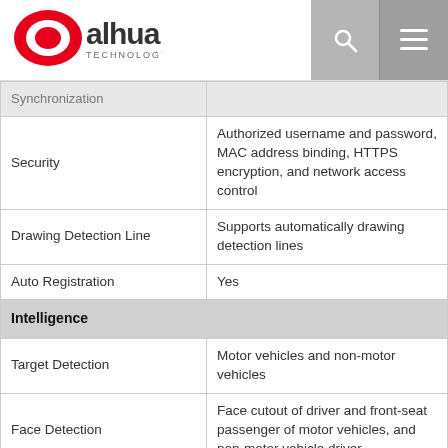[Figure (logo): Dahua Technology logo — red ellipse with 'alhua' text and 'TECHNOLOGY' subtitle]
| Feature | Description |
| --- | --- |
| Synchronization |  |
| Security | Authorized username and password, MAC address binding, HTTPS encryption, and network access control |
| Drawing Detection Line | Supports automatically drawing detection lines |
| Auto Registration | Yes |
| Intelligence |  |
| Target Detection | Motor vehicles and non-motor vehicles |
| Face Detection | Face cutout of driver and front-seat passenger of motor vehicles, and non-motor vehicle driver |
| License Plate Recognition | Adopts self-developed algorithm to recognize license plates with numbers and letters |
| Vehicle Type Recognition | Vehicle head: Coach bus, medium bus, SUV, MPV, pickup, heavy truck, medium truck, car, van, and light truck
Vehicle tail: SUV, car, van, coach bus, pickup, cargo truck, mini truck, tank truck, and mixer truck |
Project Registration